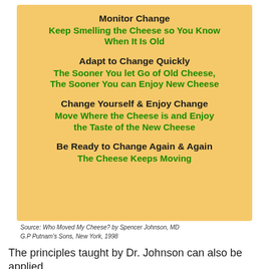Monitor Change
Keep Smelling the Cheese so You Know When It Is Old
Adapt to Change Quickly
The Sooner You let Go of Old Cheese, The Sooner You can Enjoy New Cheese
Change Yourself & Enjoy Change
Move Where the Cheese is and Enjoy the Taste of the New Cheese
Be Ready to Change Again & Again
The Cheese Keeps Moving
Source: Who Moved My Cheese? by Spencer Johnson, MD G.P Putnam's Sons, New York, 1998
The principles taught by Dr. Johnson can also be applied